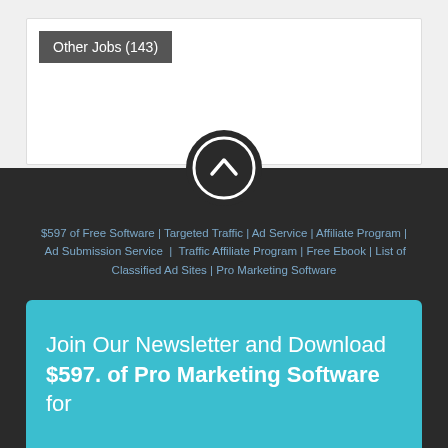Other Jobs (143)
[Figure (screenshot): Dark circular up-arrow button used as a scroll-to-top control]
$597 of Free Software | Targeted Traffic | Ad Service | Affiliate Program | Ad Submission Service | Traffic Affiliate Program | Free Ebook | List of Classified Ad Sites | Pro Marketing Software
[Figure (infographic): Social media icons: Facebook, Twitter, a green play-button icon, and YouTube]
Join Our Newsletter and Download $597. of Pro Marketing Software for